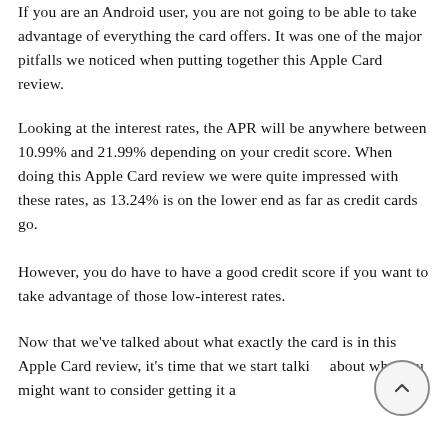If you are an Android user, you are not going to be able to take advantage of everything the card offers. It was one of the major pitfalls we noticed when putting together this Apple Card review.
Looking at the interest rates, the APR will be anywhere between 10.99% and 21.99% depending on your credit score. When doing this Apple Card review we were quite impressed with these rates, as 13.24% is on the lower end as far as credit cards go.
However, you do have to have a good credit score if you want to take advantage of those low-interest rates.
Now that we've talked about what exactly the card is in this Apple Card review, it's time that we start talking about why you might want to consider getting it and...